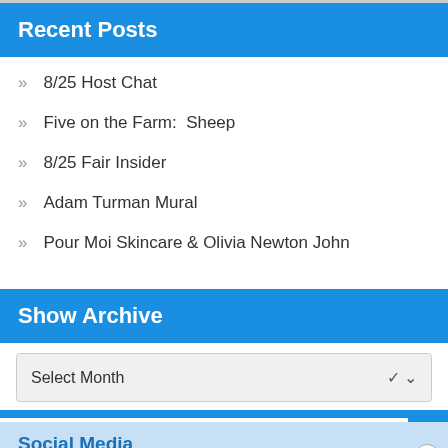Recent Posts
8/25 Host Chat
Five on the Farm:  Sheep
8/25 Fair Insider
Adam Turman Mural
Pour Moi Skincare & Olivia Newton John
Show Archive
Select Month
Social Media